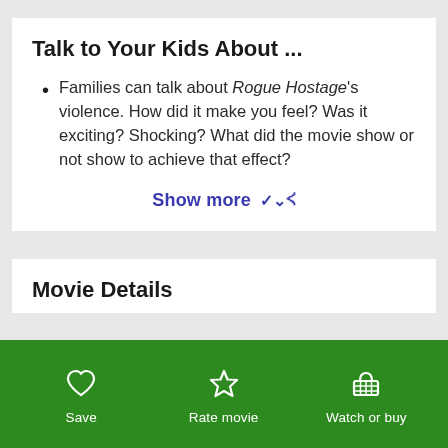Talk to Your Kids About ...
Families can talk about Rogue Hostage's violence. How did it make you feel? Was it exciting? Shocking? What did the movie show or not show to achieve that effect?
Show more ▾
Movie Details
[Figure (screenshot): Green bottom navigation bar with Save (heart icon), Rate movie (star icon), and Watch or buy (basket icon) buttons]